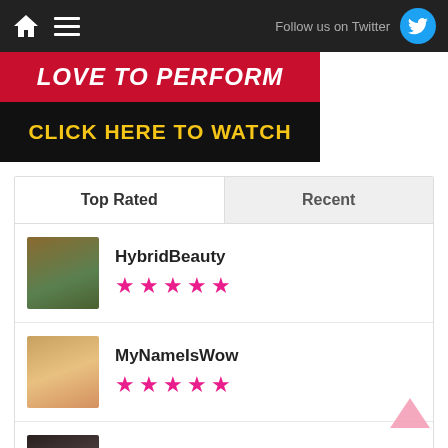Follow us on Twitter
[Figure (other): Banner with text LOVE TO PERFORM / CLICK HERE TO WATCH on red and black background]
Top Rated | Recent
HybridBeauty ★★★★★
MyNameIsWow ★★★★★
The0NEuLoveTs ★★★★★